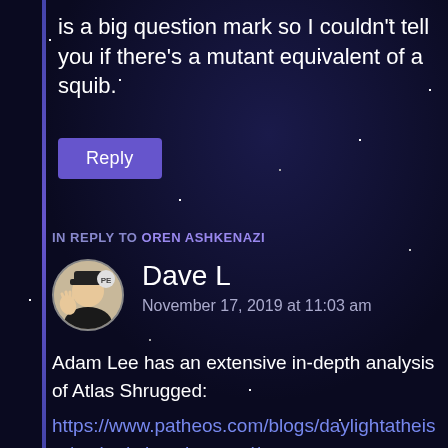is a big question mark so I couldn't tell you if there's a mutant equivalent of a squib.
Reply
IN REPLY TO OREN ASHKENAZI
Dave L
November 17, 2019 at 11:03 am
Adam Lee has an extensive in-depth analysis of Atlas Shrugged:
https://www.patheos.com/blogs/daylightatheism/series/atlas-shrugged/